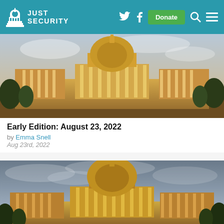Just Security
[Figure (photo): Photograph of the US Capitol building exterior with warm golden light, wide-angle view showing the dome and wings]
Early Edition: August 23, 2022
by Emma Snell
Aug 23rd, 2022
[Figure (photo): Photograph of the US Capitol building exterior with cooler overcast sky, centered dome view]
Early Edition: August 22, 2022
by Emma Snell